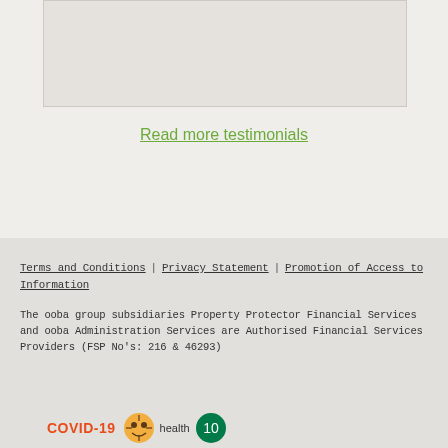[Figure (other): Gray placeholder box at top of page]
Read more testimonials
Terms and Conditions   Privacy Statement   Promotion of Access to Information

The ooba group subsidiaries Property Protector Financial Services and ooba Administration Services are Authorised Financial Services Providers (FSP No's: 216 & 46293)
[Figure (other): COVID-19 health banner with icons at bottom of page]